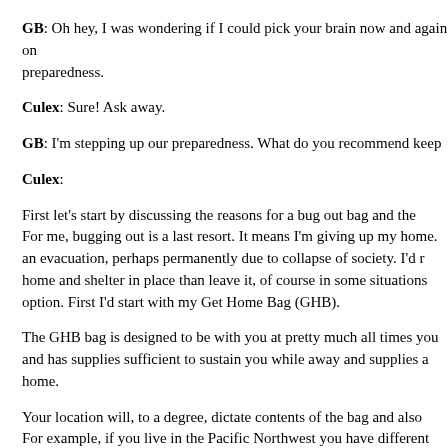GB: Oh hey, I was wondering if I could pick your brain now and again on preparedness.
Culex: Sure! Ask away.
GB: I'm stepping up our preparedness. What do you recommend kee...
Culex:
First let's start by discussing the reasons for a bug out bag and the... For me, bugging out is a last resort. It means I'm giving up my home. an evacuation, perhaps permanently due to collapse of society. I'd r... home and shelter in place than leave it, of course in some situations... option. First I'd start with my Get Home Bag (GHB).
The GHB bag is designed to be with you at pretty much all times you... and has supplies sufficient to sustain you while away and supplies a... home.
Your location will, to a degree, dictate contents of the bag and also... For example, if you live in the Pacific Northwest you have different... Southwest, or the South desert area or South Eastern states. New...